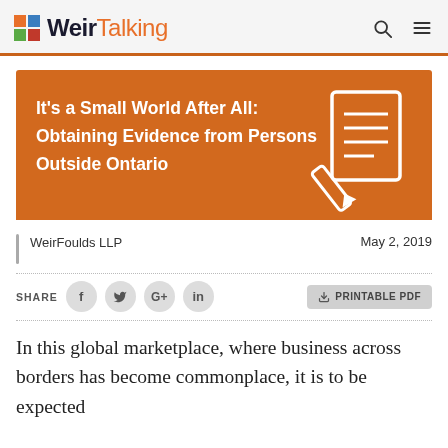WeirTalking
[Figure (illustration): Orange banner with white bold text: It's a Small World After All: Obtaining Evidence from Persons Outside Ontario, and a white document/pen icon on the right]
It's a Small World After All: Obtaining Evidence from Persons Outside Ontario
WeirFoulds LLP
May 2, 2019
SHARE
PRINTABLE PDF
In this global marketplace, where business across borders has become commonplace, it is to be expected